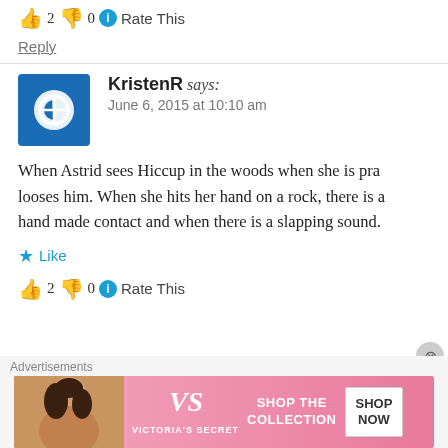👍 2 👎 0 ℹ Rate This
Reply
KristenR says: June 6, 2015 at 10:10 am
When Astrid sees Hiccup in the woods when she is pra... looses him. When she hits her hand on a rock, there is a... hand made contact and when there is a slapping sound.
★ Like
👍 2 👎 0 ℹ Rate This
Advertisements
[Figure (photo): Victoria's Secret advertisement banner with model and 'Shop the Collection / Shop Now' button]